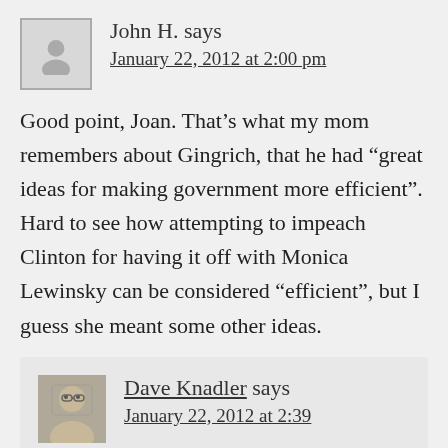[Figure (illustration): Generic user avatar placeholder icon - gray square with white silhouette of a person]
John H. says
January 22, 2012 at 2:00 pm
Good point, Joan. That’s what my mom remembers about Gingrich, that he had “great ideas for making government more efficient”. Hard to see how attempting to impeach Clinton for having it off with Monica Lewinsky can be considered “efficient”, but I guess she meant some other ideas.
[Figure (photo): Photo of Dave Knadler - older man with glasses]
Dave Knadler says
January 22, 2012 at 2:39